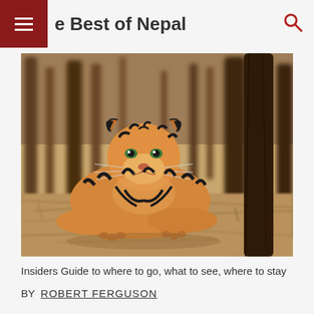e Best of Nepal
[Figure (photo): A Bengal tiger lying on dry grass in a sparse forest, looking directly at the camera. The tiger has vivid orange and black striped fur. The background shows blurred tree trunks and dry brown vegetation.]
Insiders Guide to where to go, what to see, where to stay
BY  ROBERT FERGUSON